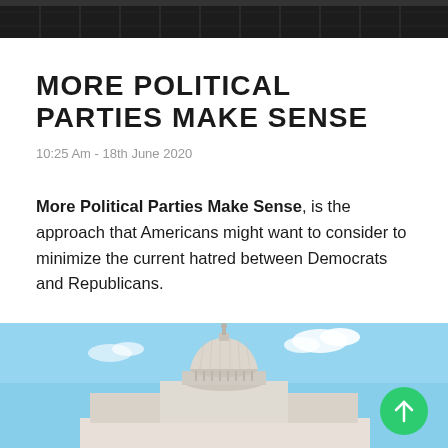[Figure (photo): Dark architectural/building image used as page header banner]
MORE POLITICAL PARTIES MAKE SENSE
10:25 Am - 18th June 2020
More Political Parties Make Sense, is the approach that Americans might want to consider to minimize the current hatred between Democrats and Republicans.
[Figure (photo): Photo of the US Capitol building dome against a blue sky with clouds, with a green scroll-up button overlaid in bottom right corner]